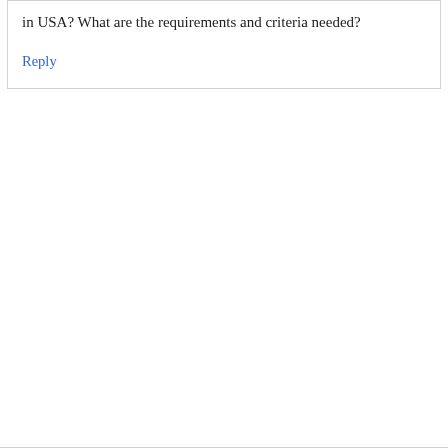in USA? What are the requirements and criteria needed?
Reply